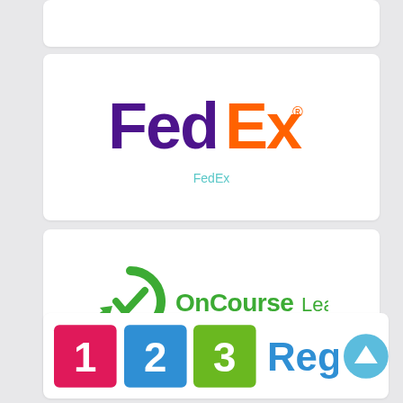[Figure (logo): Partial white card at top (cropped)]
[Figure (logo): FedEx logo: 'Fed' in purple, 'Ex' in orange with registered trademark symbol]
FedEx
[Figure (logo): OnCourse Learning logo: green circular arrow icon with 'OnCourse Learning' text in green]
OnCourse Learning
[Figure (logo): 123Reg logo: pink square with '1', blue square with '2', green square with '3', blue 'Reg' text, and a teal scroll-to-top button]